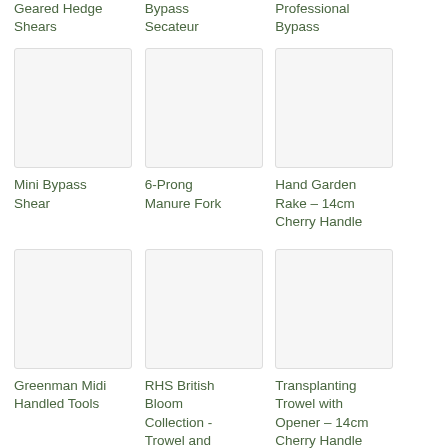Geared Hedge Shears
Bypass Secateur
Professional Bypass
[Figure (photo): Product image placeholder for Mini Bypass Shear]
Mini Bypass Shear
[Figure (photo): Product image placeholder for 6-Prong Manure Fork]
6-Prong Manure Fork
[Figure (photo): Product image placeholder for Hand Garden Rake – 14cm Cherry Handle]
Hand Garden Rake – 14cm Cherry Handle
[Figure (photo): Product image placeholder for Greenman Midi Handled Tools]
Greenman Midi Handled Tools
[Figure (photo): Product image placeholder for RHS British Bloom Collection - Trowel and Fork Gift Set]
RHS British Bloom Collection - Trowel and Fork Gift Set
[Figure (photo): Product image placeholder for Transplanting Trowel with Opener – 14cm Cherry Handle]
Transplanting Trowel with Opener – 14cm Cherry Handle